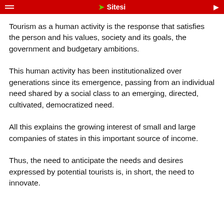Sitesi
Tourism as a human activity is the response that satisfies the person and his values, society and its goals, the government and budgetary ambitions.
This human activity has been institutionalized over generations since its emergence, passing from an individual need shared by a social class to an emerging, directed, cultivated, democratized need.
All this explains the growing interest of small and large companies of states in this important source of income.
Thus, the need to anticipate the needs and desires expressed by potential tourists is, in short, the need to innovate.